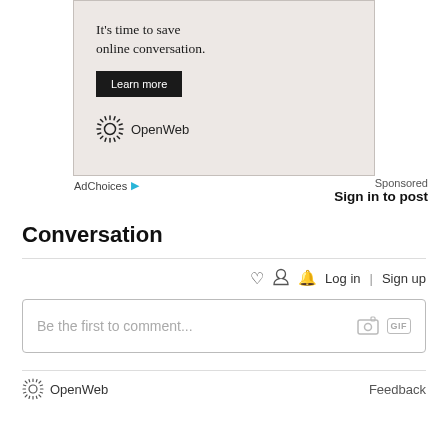[Figure (other): OpenWeb advertisement banner with tagline 'It's time to save online conversation.' and a Learn more button, with OpenWeb logo at bottom]
AdChoices ▷
Sponsored
Sign in to post
Conversation
🔔 Log in | Sign up
Be the first to comment...
OpenWeb  Feedback